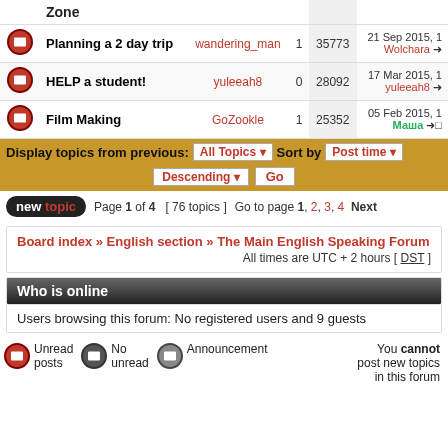|  | Topic | Author | Replies | Views | Last post |
| --- | --- | --- | --- | --- | --- |
|  | Zone |  |  |  |  |
| icon | Planning a 2 day trip | wandering_man | 1 | 35773 | 21 Sep 2015, 1 Wolchara → |
| icon | HELP a student! | yuleeah8 | 0 | 28092 | 17 Mar 2015, 1 yuleeah8 → |
| icon | Film Making | GoZookle | 1 | 25352 | 05 Feb 2015, 1 Маша →□ |
Display topics from previous: All Topics ▼ Sort by Post time ▼ Descending ▼ Go
new topic  Page 1 of 4  [ 76 topics ]  Go to page 1, 2, 3, 4  Next
Board index » English section » The Main English Speaking Forum  All times are UTC + 2 hours [ DST ]
Who is online
Users browsing this forum: No registered users and 9 guests
Unread posts  No unread posts  Announcement  You cannot post new topics in this forum